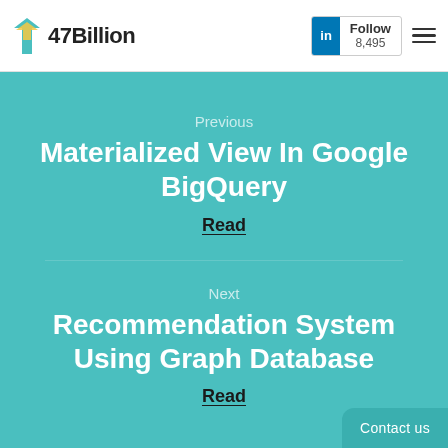47Billion | LinkedIn Follow 8,495
Previous
Materialized View In Google BigQuery
Read
Next
Recommendation System Using Graph Database
Read
Contact us